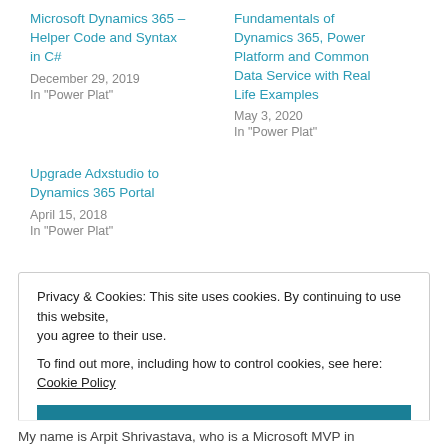Microsoft Dynamics 365 – Helper Code and Syntax in C#
December 29, 2019
In "Power Plat"
Fundamentals of Dynamics 365, Power Platform and Common Data Service with Real Life Examples
May 3, 2020
In "Power Plat"
Upgrade Adxstudio to Dynamics 365 Portal
April 15, 2018
In "Power Plat"
Privacy & Cookies: This site uses cookies. By continuing to use this website, you agree to their use.
To find out more, including how to control cookies, see here: Cookie Policy
Close and accept
My name is Arpit Shrivastava, who is a Microsoft MVP in